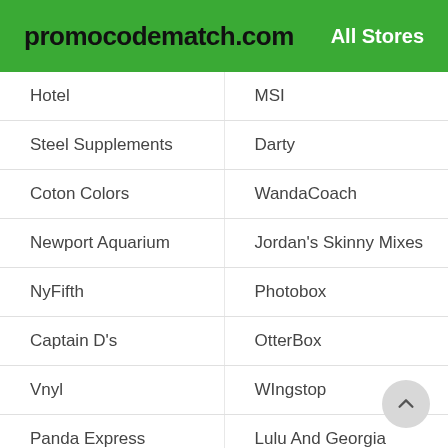promocodematch.com   All Stores
Hotel
MSI
Steel Supplements
Darty
Coton Colors
WandaCoach
Newport Aquarium
Jordan's Skinny Mixes
NyFifth
Photobox
Captain D's
OtterBox
Vnyl
WIngstop
Panda Express
Lulu And Georgia